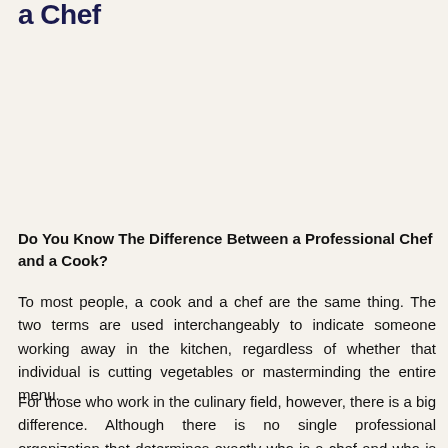a Chef
Do You Know The Difference Between a Professional Chef and a Cook?
To most people, a cook and a chef are the same thing. The two terms are used interchangeably to indicate someone working away in the kitchen, regardless of whether that individual is cutting vegetables or masterminding the entire menu.
For those who work in the culinary field, however, there is a big difference. Although there is no single professional organization that determines exactly who is a chef and who is a cook, most agree that the difference lies in education